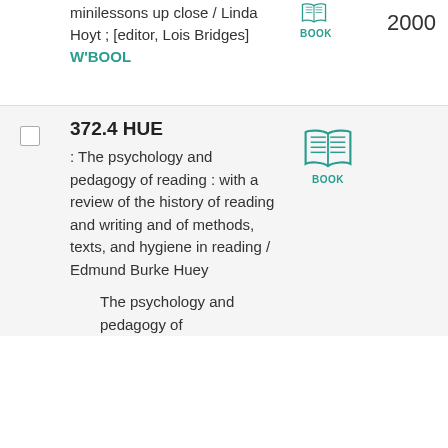minilessons up close / Linda Hoyt ; [editor, Lois Bridges] W'BOOL
[Figure (illustration): Small teal open book icon with BOOK label]
2000
372.4 HUE
: The psychology and pedagogy of reading : with a review of the history of reading and writing and of methods, texts, and hygiene in reading / Edmund Burke Huey
The psychology and pedagogy of
[Figure (illustration): Large teal open book icon with BOOK label]